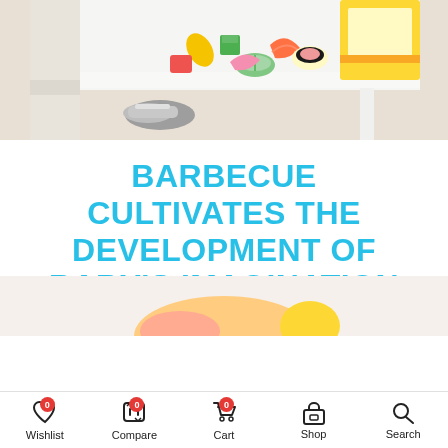[Figure (photo): Colorful wooden toy food items (sushi, vegetables, corn, shapes) on a white low table with a child's shoe visible, and a yellow wooden toy shelf in background on a beige carpet]
BARBECUE CULTIVATES THE DEVELOPMENT OF BABY'S IMAGINATION
[Figure (photo): Partial view of a wooden baby toy product at bottom of page]
Wishlist 0  Compare 0  Cart 0  Shop  Search